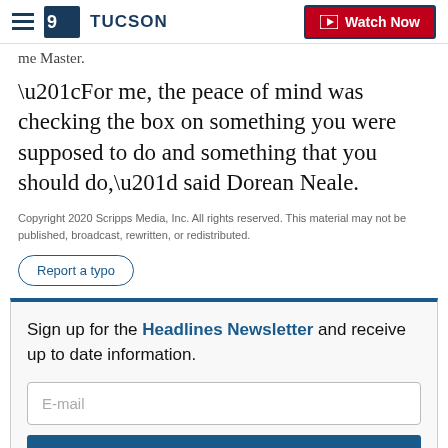9 TUCSON | Watch Now
me Master.
“For me, the peace of mind was checking the box on something you were supposed to do and something that you should do,” said Dorean Neale.
Copyright 2020 Scripps Media, Inc. All rights reserved. This material may not be published, broadcast, rewritten, or redistributed.
Report a typo
Sign up for the Headlines Newsletter and receive up to date information.
E-mail